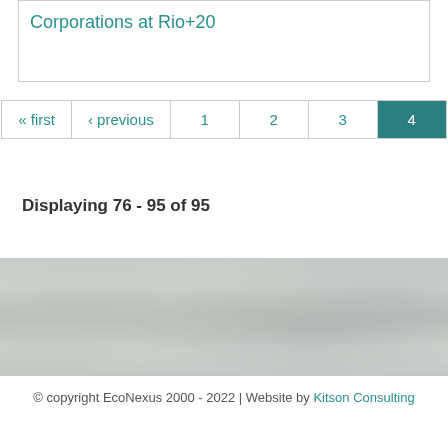Corporations at Rio+20
« first ‹ previous 1 2 3 4
Displaying 76 - 95 of 95
[Figure (photo): Grayscale decorative banner image with organic textural patterns]
© copyright EcoNexus 2000 - 2022 | Website by Kitson Consulting